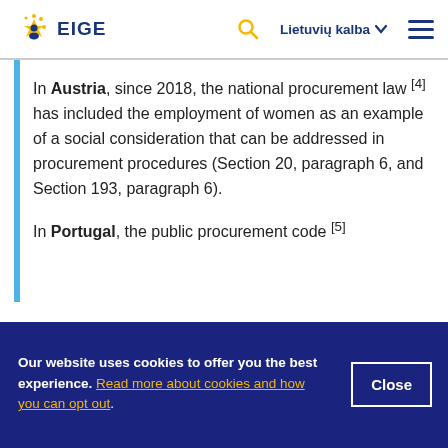EIGE | Lietuvių kalba
In Austria, since 2018, the national procurement law [4] has included the employment of women as an example of a social consideration that can be addressed in procurement procedures (Section 20, paragraph 6, and Section 193, paragraph 6).
In Portugal, the public procurement code [5]
Our website uses cookies to offer you the best experience. Read more about cookies and how you can opt out.